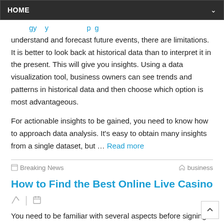HOME
understand and forecast future events, there are limitations. It is better to look back at historical data than to interpret it in the present. This will give you insights. Using a data visualization tool, business owners can see trends and patterns in historical data and then choose which option is most advantageous.
For actionable insights to be gained, you need to know how to approach data analysis. It's easy to obtain many insights from a single dataset, but … Read more
Breaking News  business
How to Find the Best Online Live Casino
You need to be familiar with several aspects before signing up to play at an online live casino. You should know how much they cost and what type of games they offer, and you should also be